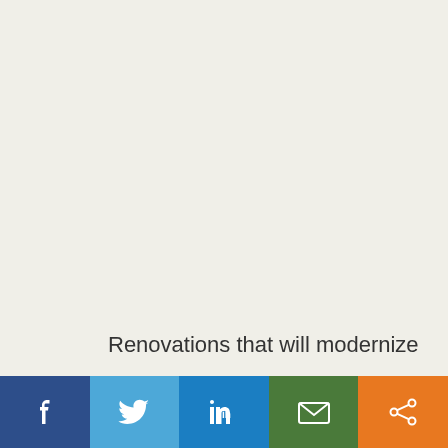Renovations that will modernize
[Figure (infographic): Social share bar with five buttons: Facebook (dark blue), Twitter (light blue), LinkedIn (medium blue), Email (green), Share (orange), each with white icon]